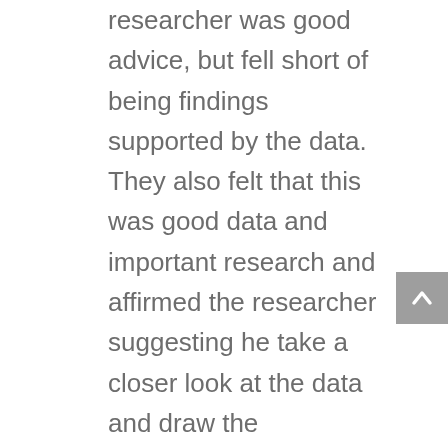researcher was good advice, but fell short of being findings supported by the data. They also felt that this was good data and important research and affirmed the researcher suggesting he take a closer look at the data and draw the conclusions more directly. The group believed the researcher moved too quickly from the data findings to recommendations based on the findings. The researcher reexamined the data and sent an email containing four findings with stronger rational. In the second round the focus group found that the conclusions changed